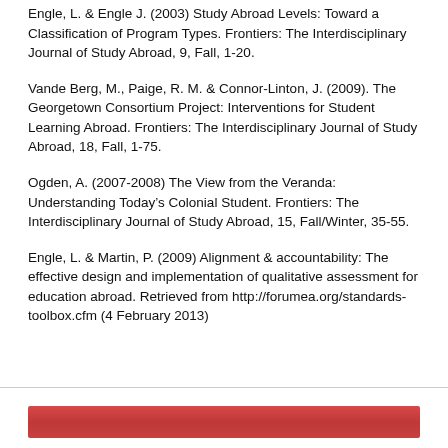Engle, L. & Engle J. (2003) Study Abroad Levels: Toward a Classification of Program Types. Frontiers: The Interdisciplinary Journal of Study Abroad, 9, Fall, 1-20.
Vande Berg, M., Paige, R. M. & Connor-Linton, J. (2009). The Georgetown Consortium Project: Interventions for Student Learning Abroad. Frontiers: The Interdisciplinary Journal of Study Abroad, 18, Fall, 1-75.
Ogden, A. (2007-2008) The View from the Veranda: Understanding Today’s Colonial Student. Frontiers: The Interdisciplinary Journal of Study Abroad, 15, Fall/Winter, 35-55.
Engle, L. & Martin, P. (2009) Alignment & accountability: The effective design and implementation of qualitative assessment for education abroad. Retrieved from http://forumea.org/standards-toolbox.cfm (4 February 2013)
[Figure (other): Red decorative bar at bottom of page]